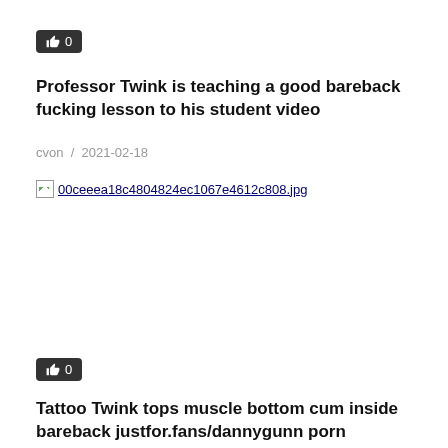[Figure (other): Like button with thumbs up icon showing count 0, dark background]
Professor Twink is teaching a good bareback fucking lesson to his student video
cvon / 2021-02-18
[Figure (other): Broken image placeholder linking to 00ceeea18c4804824ec1067e4612c808.jpg]
[Figure (other): Like button with thumbs up icon showing count 0, dark background]
Tattoo Twink tops muscle bottom cum inside bareback justfor.fans/dannygunn porn